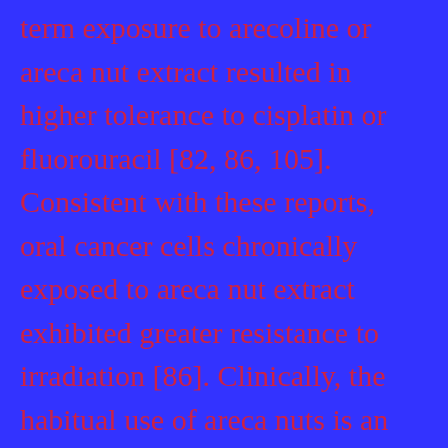term exposure to arecoline or areca nut extract resulted in higher tolerance to cisplatin or fluorouracil [82, 86, 105]. Consistent with these reports, oral cancer cells chronically exposed to areca nut extract exhibited greater resistance to irradiation [86]. Clinically, the habitual use of areca nuts is an independent prognostic factor of poor survival of oral cancer patients receiving induction chemotherapy with docetaxel, cisplatin, or fluorouracil [8